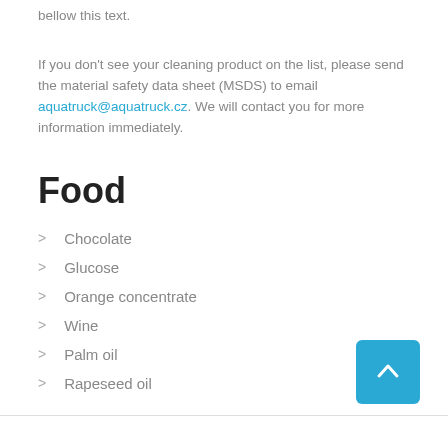bellow this text.
If you don't see your cleaning product on the list, please send the material safety data sheet (MSDS) to email aquatruck@aquatruck.cz. We will contact you for more information immediately.
Food
Chocolate
Glucose
Orange concentrate
Wine
Palm oil
Rapeseed oil